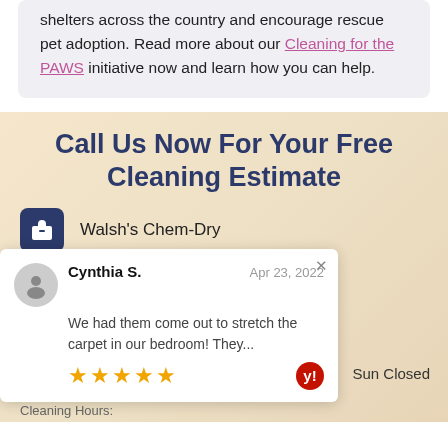shelters across the country and encourage rescue pet adoption. Read more about our Cleaning for the PAWS initiative now and learn how you can help.
Call Us Now For Your Free Cleaning Estimate
Walsh's Chem-Dry
(408) 978-9220 - (650) 348-0161
Cynthia S. Apr 23, 2022 We had them come out to stretch the carpet in our bedroom! They... ★★★★★
Sun Closed
Cleaning Hours: